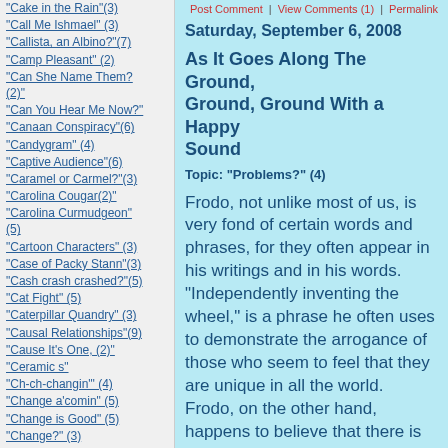"Cake in the Rain"(3)
"Call Me Ishmael" (3)
"Callista, an Albino?"(7)
"Camp Pleasant" (2)
"Can She Name Them? (2)"
"Can You Hear Me Now?"
"Canaan Conspiracy"(6)
"Candygram" (4)
"Captive Audience"(6)
"Caramel or Carmel?"(3)
"Carolina Cougar(2)"
"Carolina Curmudgeon" (5)
"Cartoon Characters" (3)
"Case of Packy Stann"(3)
"Cash crash crashed?"(5)
"Cat Fight" (5)
"Caterpillar Quandry" (3)
"Causal Relationships"(9)
"Cause It's One, (2)"
"Ceramic s"
"Ch-ch-changin'" (4)
"Change a'comin" (5)
"Change is Good" (5)
"Change?" (3)
"Changin' Channels" (2)
"Chapter 13"
Post Comment | View Comments (1) | Permalink
Saturday, September 6, 2008
As It Goes Along The Ground, Ground, Ground With a Happy Sound
Topic: "Problems?" (4)
Frodo, not unlike most of us, is very fond of certain words and phrases, for they often appear in his writings and in his words.  "Independently inventing the wheel," is a phrase he often uses to demonstrate the arrogance of those who seem to feel that they are unique in all the world.  Frodo, on the other hand, happens to believe that there is no problem confronting man or Hobbit